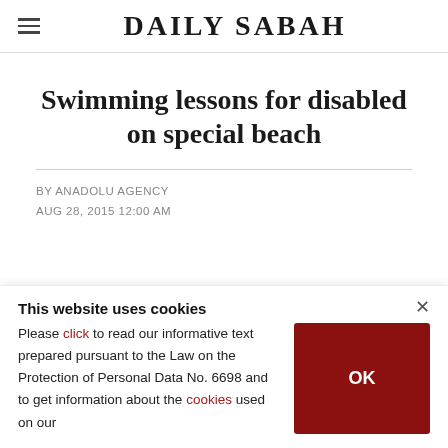DAILY SABAH
Swimming lessons for disabled on special beach
BY ANADOLU AGENCY
AUG 28, 2015 12:00 AM
This website uses cookies
Please click to read our informative text prepared pursuant to the Law on the Protection of Personal Data No. 6698 and to get information about the cookies used on our